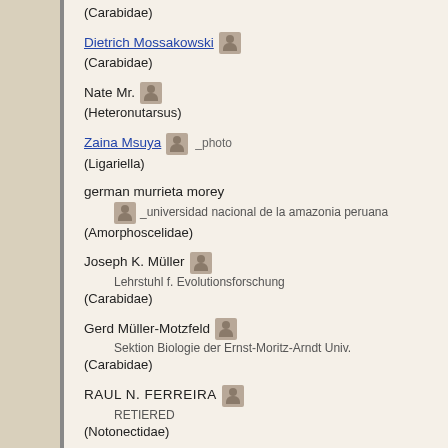(Carabidae)
Dietrich Mossakowski
(Carabidae)
Nate Mr.
(Heteronutarsus)
Zaina Msuya _photo
(Ligariella)
german murrieta morey
_universidad nacional de la amazonia peruana
(Amorphoscelidae)
Joseph K. Müller
Lehrstuhl f. Evolutionsforschung
(Carabidae)
Gerd Müller-Motzfeld
Sektion Biologie der Ernst-Moritz-Arndt Univ.
(Carabidae)
RAUL N. FERREIRA
RETIERED
(Notonectidae)
Robert Nash _Ulster Museum (Allancastria